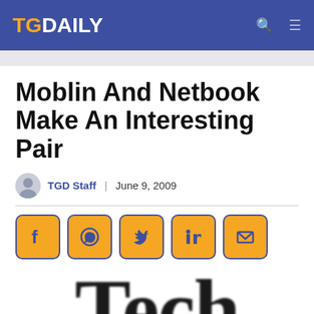TGDaily
Moblin And Netbook Make An Interesting Pair
TGD Staff | June 9, 2009
[Figure (other): Social sharing buttons: Facebook, WhatsApp, Twitter, LinkedIn, Email]
[Figure (photo): Partial large 'Tech' text visible at bottom of page, blurred serif font]